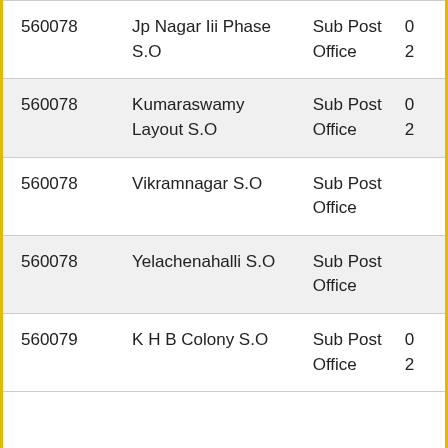| 560078 | Jp Nagar Iii Phase S.O | Sub Post Office | 0
2 |
| 560078 | Kumaraswamy Layout S.O | Sub Post Office | 0
2 |
| 560078 | Vikramnagar S.O | Sub Post Office |  |
| 560078 | Yelachenahalli S.O | Sub Post Office |  |
| 560079 | K H B Colony S.O | Sub Post Office | 0
2 |